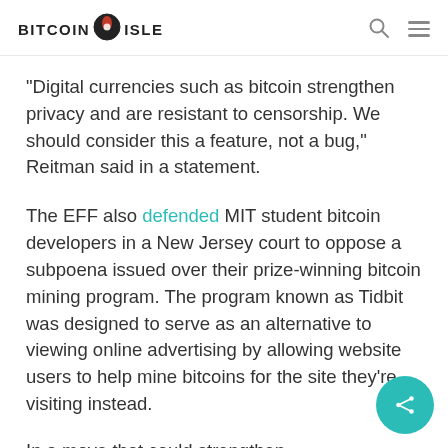BITCOIN ISLE
"Digital currencies such as bitcoin strengthen privacy and are resistant to censorship. We should consider this a feature, not a bug," Reitman said in a statement.
The EFF also defended MIT student bitcoin developers in a New Jersey court to oppose a subpoena issued over their prize-winning bitcoin mining program. The program known as Tidbit was designed to serve as an alternative to viewing online advertising by allowing website users to help mine bitcoins for the site they're visiting instead.
In a move that could strengthen